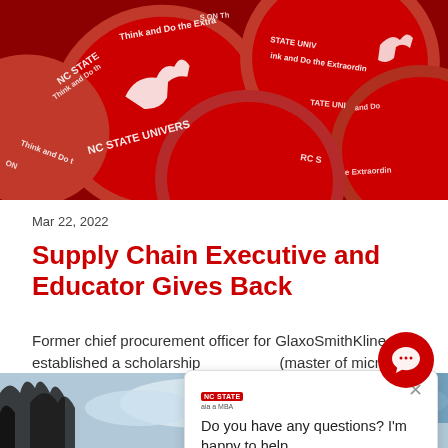[Figure (photo): Red NC State University buttons/pins with wolf logo and 'Think and Do the Extraordinary' text, piled together on a red background]
Mar 22, 2022
Supply Chain Executive and Educator Gives Back
Former chief procurement officer for GlaxoSmithKline, established a scholarship (master of microbial biotechnology) students who have declared management. →
[Figure (photo): Black and white photo of trees with sky in background, partially visible at bottom of page]
Do you have any questions? I'm happy to help.